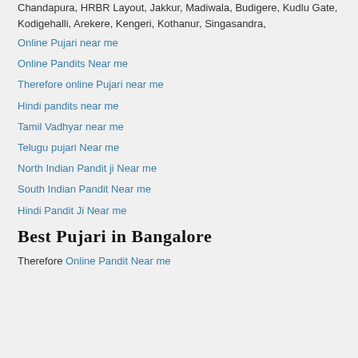Chandapura, HRBR Layout, Jakkur, Madiwala, Budigere, Kudlu Gate, Kodigehalli, Arekere, Kengeri, Kothanur, Singasandra,
Online Pujari near me
Online Pandits Near me
Therefore online Pujari near me
Hindi pandits near me
Tamil Vadhyar near me
Telugu pujari Near me
North Indian Pandit ji Near me
South Indian Pandit Near me
Hindi Pandit Ji Near me
Best Pujari in Bangalore
Therefore Online Pandit Near me